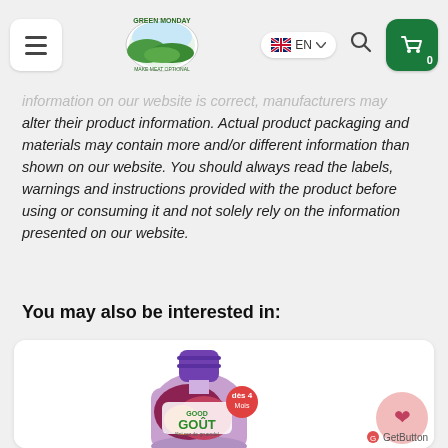Green Monday — EN, search, cart (0)
information on our website is correct, manufacturers may alter their product information. Actual product packaging and materials may contain more and/or different information than shown on our website. You should always read the labels, warnings and instructions provided with the product before using or consuming it and not solely rely on the information presented on our website.
You may also be interested in:
[Figure (photo): Good Gout baby food pouch with purple cap, showing fruit content, labeled 4+ months]